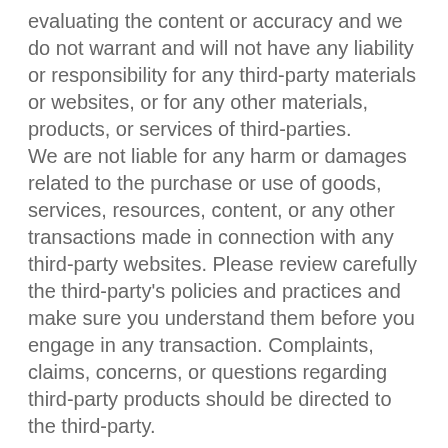evaluating the content or accuracy and we do not warrant and will not have any liability or responsibility for any third-party materials or websites, or for any other materials, products, or services of third-parties. We are not liable for any harm or damages related to the purchase or use of goods, services, resources, content, or any other transactions made in connection with any third-party websites. Please review carefully the third-party's policies and practices and make sure you understand them before you engage in any transaction. Complaints, claims, concerns, or questions regarding third-party products should be directed to the third-party.
SECTION 9 - USER COMMENTS, FEEDBACK AND OTHER SUBMISSIONS